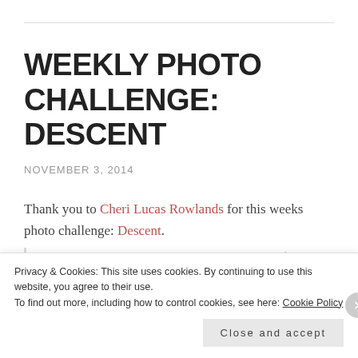WEEKLY PHOTO CHALLENGE: DESCENT
NOVEMBER 3, 2014
Thank you to Cheri Lucas Rowlands for this weeks photo challenge: Descent.
“This week, show us your interpretation of
Privacy & Cookies: This site uses cookies. By continuing to use this website, you agree to their use. To find out more, including how to control cookies, see here: Cookie Policy
Close and accept